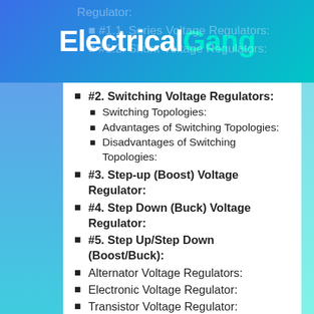ElectricalGang
#2. Switching Voltage Regulators:
Switching Topologies:
Advantages of Switching Topologies:
Disadvantages of Switching Topologies:
#3. Step-up (Boost) Voltage Regulator:
#4. Step Down (Buck) Voltage Regulator:
#5. Step Up/Step Down (Boost/Buck):
Alternator Voltage Regulators:
Electronic Voltage Regulator:
Transistor Voltage Regulator:
Basic Parameters of Voltage